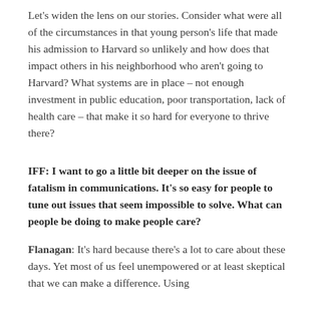Let's widen the lens on our stories. Consider what were all of the circumstances in that young person's life that made his admission to Harvard so unlikely and how does that impact others in his neighborhood who aren't going to Harvard? What systems are in place – not enough investment in public education, poor transportation, lack of health care – that make it so hard for everyone to thrive there?
IFF: I want to go a little bit deeper on the issue of fatalism in communications. It's so easy for people to tune out issues that seem impossible to solve. What can people be doing to make people care?
Flanagan: It's hard because there's a lot to care about these days. Yet most of us feel unempowered or at least skeptical that we can make a difference. Using